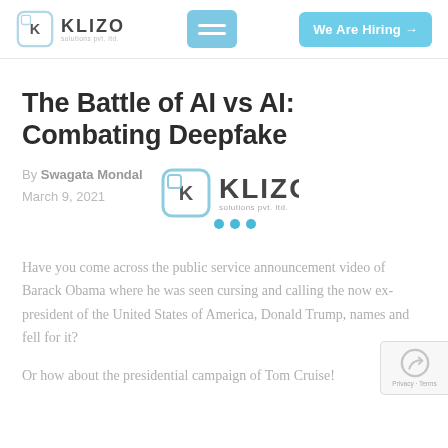KLIZO solutions pvt. ltd. | We Are Hiring →
The Battle of AI vs AI: Combating Deepfake
By Swagata Mondal
March 9, 2021
[Figure (logo): Klizo Solutions Pvt. Ltd. logo inline with author byline]
Have you come across the public service announcement video of Barack Obama where he was seen cursing and calling the now ex-president of the United States of America, Donald Trump, names and fell for it?
Or how about the presidential campaign of Tom Cruise!